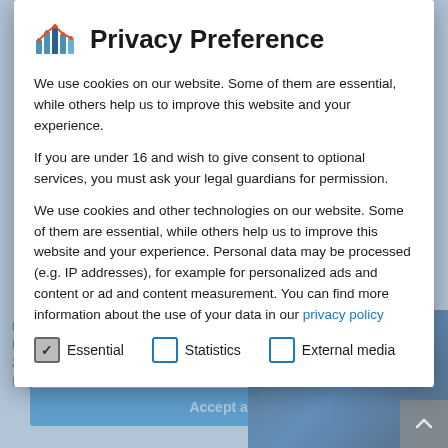Privacy Preference
We use cookies on our website. Some of them are essential, while others help us to improve this website and your experience.
If you are under 16 and wish to give consent to optional services, you must ask your legal guardians for permission.
We use cookies and other technologies on our website. Some of them are essential, while others help us to improve this website and your experience. Personal data may be processed (e.g. IP addresses), for example for personalized ads and content or ad and content measurement. You can find more information about the use of your data in our privacy policy
Essential (checked)
Statistics (unchecked)
External media (unchecked)
3rd International Congress "Next Generation Nanotechnology"
From November 23-25, 2016, Bayern